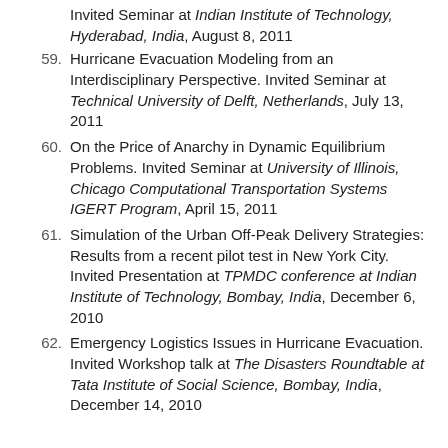Invited Seminar at Indian Institute of Technology, Hyderabad, India, August 8, 2011
59. Hurricane Evacuation Modeling from an Interdisciplinary Perspective. Invited Seminar at Technical University of Delft, Netherlands, July 13, 2011
60. On the Price of Anarchy in Dynamic Equilibrium Problems. Invited Seminar at University of Illinois, Chicago Computational Transportation Systems IGERT Program, April 15, 2011
61. Simulation of the Urban Off-Peak Delivery Strategies: Results from a recent pilot test in New York City. Invited Presentation at TPMDC conference at Indian Institute of Technology, Bombay, India, December 6, 2010
62. Emergency Logistics Issues in Hurricane Evacuation. Invited Workshop talk at The Disasters Roundtable at Tata Institute of Social Science, Bombay, India, December 14, 2010